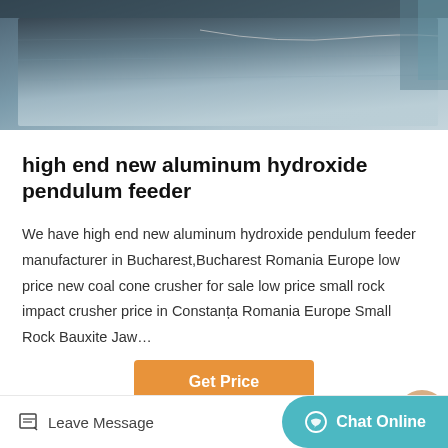[Figure (photo): Top industrial photo showing a metallic sheet or surface in a manufacturing environment, grey-blue tones]
high end new aluminum hydroxide pendulum feeder
We have high end new aluminum hydroxide pendulum feeder manufacturer in Bucharest,Bucharest Romania Europe low price new coal cone crusher for sale low price small rock impact crusher price in Constanța Romania Europe Small Rock Bauxite Jaw…
[Figure (photo): Bottom industrial photo showing a large red overhead crane or industrial machinery inside a factory building with steel frame roof]
Leave Message
Chat Online